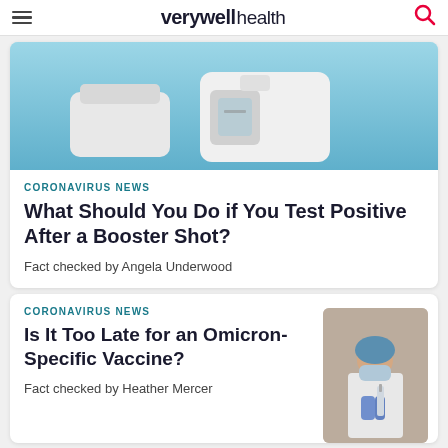verywell health
[Figure (photo): COVID-19 rapid antigen test kit on a blue background, showing the white plastic test device and components]
CORONAVIRUS NEWS
What Should You Do if You Test Positive After a Booster Shot?
Fact checked by Angela Underwood
CORONAVIRUS NEWS
Is It Too Late for an Omicron-Specific Vaccine?
Fact checked by Heather Mercer
[Figure (photo): Healthcare worker in white coat and blue hair net/mask preparing or administering a vaccine injection]